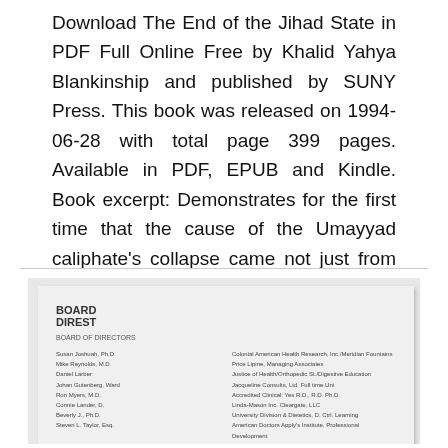Download The End of the Jihad State in PDF Full Online Free by Khalid Yahya Blankinship and published by SUNY Press. This book was released on 1994-06-28 with total page 399 pages. Available in PDF, EPUB and Kindle. Book excerpt: Demonstrates for the first time that the cause of the Umayyad caliphate's collapse came not just from internal conflict, but from a number of external and concurrent factors that exceeded the caliphate's capacity to respond.
[Figure (photo): A blurred/low-resolution image of a document page showing a board of directors list with two columns of names and affiliations, partially visible]